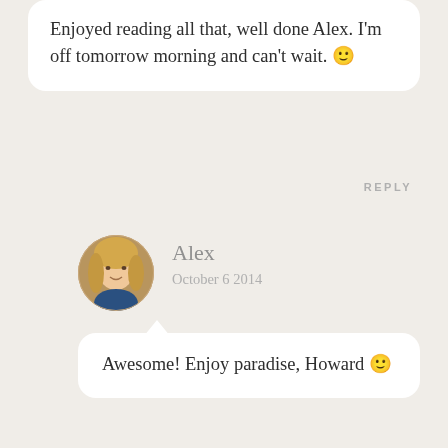Enjoyed reading all that, well done Alex. I'm off tomorrow morning and can't wait. 🙂
REPLY
Alex
October 6 2014
Awesome! Enjoy paradise, Howard 🙂
REPLY
[Figure (illustration): Globe icon in teal/turquoise color]
Mattias
January 15 2015
Hello!
I'm about to travel to Bali/Gili